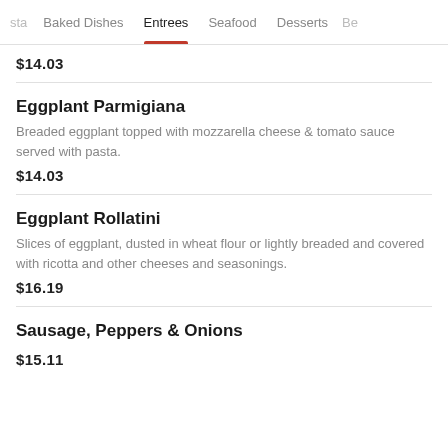sta   Baked Dishes   Entrees   Seafood   Desserts   Be
$14.03
Eggplant Parmigiana
Breaded eggplant topped with mozzarella cheese & tomato sauce served with pasta.
$14.03
Eggplant Rollatini
Slices of eggplant, dusted in wheat flour or lightly breaded and covered with ricotta and other cheeses and seasonings.
$16.19
Sausage, Peppers & Onions
$15.11